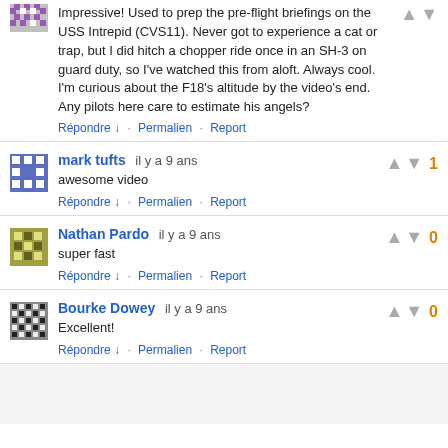Impressive! Used to prep the pre-flight briefings on the USS Intrepid (CVS11). Never got to experience a cat or trap, but I did hitch a chopper ride once in an SH-3 on guard duty, so I've watched this from aloft. Always cool. I'm curious about the F18's altitude by the video's end. Any pilots here care to estimate his angels?
Répondre ↓ · Permalien · Report
mark tufts  il y a 9 ans
awesome video
Répondre ↓ · Permalien · Report
Nathan Pardo  il y a 9 ans
super fast
Répondre ↓ · Permalien · Report
Bourke Dowey  il y a 9 ans
Excellent!
Répondre ↓ · Permalien · Report